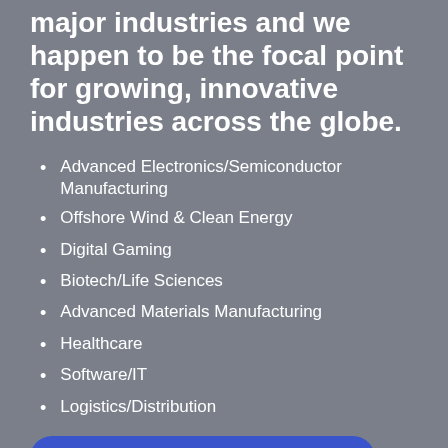major industries and we happen to be the focal point for growing, innovative industries across the globe.
Advanced Electronics/Semiconductor Manufacturing
Offshore Wind & Clean Energy
Digital Gaming
Biotech/Life Sciences
Advanced Materials Manufacturing
Healthcare
Software/IT
Logistics/Distribution
CHECK OUT CAPNY INDUSTRIES HERE